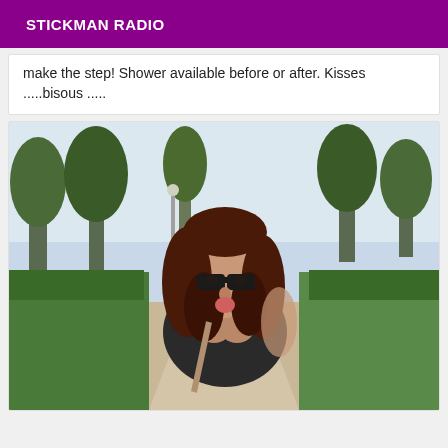STICKMAN RADIO
make the step! Shower available before or after. Kisses .....bisous .....
[Figure (photo): Outdoor photo of a woman with dark hair and sunglasses, leaning forward on a park path, with trees in the background. She is wearing a dark top and sticking out her tongue.]